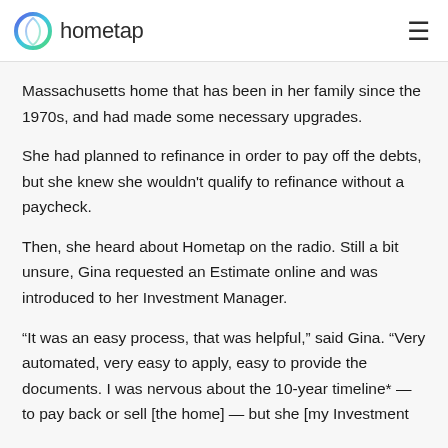hometap
Massachusetts home that has been in her family since the 1970s, and had made some necessary upgrades.
She had planned to refinance in order to pay off the debts, but she knew she wouldn't qualify to refinance without a paycheck.
Then, she heard about Hometap on the radio. Still a bit unsure, Gina requested an Estimate online and was introduced to her Investment Manager.
“It was an easy process, that was helpful,” said Gina. “Very automated, very easy to apply, easy to provide the documents. I was nervous about the 10-year timeline* — to pay back or sell [the home] — but she [my Investment